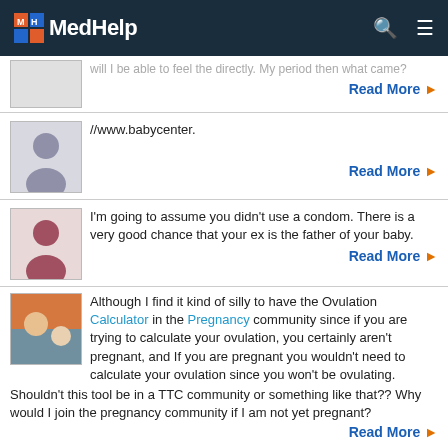MedHelp
will I be able to feel the directly. My period then what came?
Read More
//www.babycenter.
Read More
I'm going to assume you didn't use a condom. There is a very good chance that your ex is the father of your baby.
Read More
Although I find it kind of silly to have the Ovulation Calculator in the Pregnancy community since if you are trying to calculate your ovulation, you certainly aren't pregnant, and If you are pregnant you wouldn't need to calculate your ovulation since you won't be ovulating. Shouldn't this tool be in a TTC community or something like that?? Why would I join the pregnancy community if I am not yet pregnant?
Read More